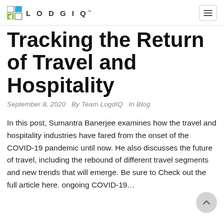LODGIQ
Tracking the Return of Travel and Hospitality
September 8, 2020  By Team LogdIQ  In Blog
In this post, Sumantra Banerjee examines how the travel and hospitality industries have fared from the onset of the COVID-19 pandemic until now. He also discusses the future of travel, including the rebound of different travel segments and new trends that will emerge. Be sure to Check out the full article here. ongoing COVID-19...